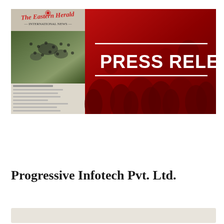[Figure (photo): Press release banner image with a newspaper (The Eastern Herald) on the left half and a dark red background with crowd silhouettes on the right half. White text reads 'PRESS RELEASE' in bold with white horizontal dividers above and below.]
Progressive Infotech Pvt. Ltd.